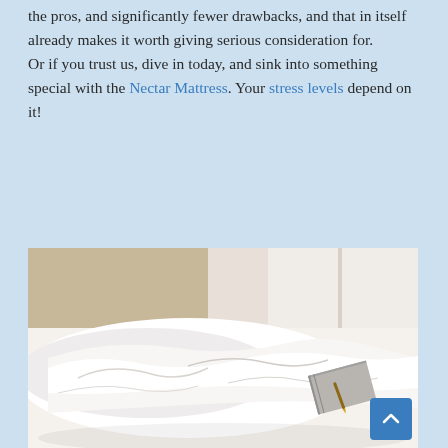the pros, and significantly fewer drawbacks, and that in itself already makes it worth giving serious consideration for.
Or if you trust us, dive in today, and sink into something special with the Nectar Mattress. Your stress levels depend on it!
[Figure (photo): A unmade bed with white crumpled sheets and a book lying open on the bed]